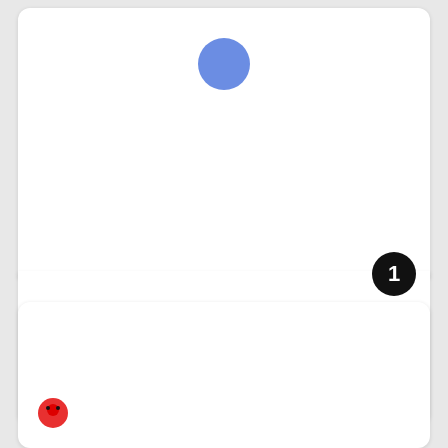[Figure (illustration): White card with a blue circle near the top center, a thick black horizontal divider line at the bottom with a black circular badge showing the number 1]
"Lifted" by Richard F. Yates (HF)
by richardfyates
BUY NOW FOR 11
[Figure (illustration): Second white card partially visible at bottom with a small red circle visible]